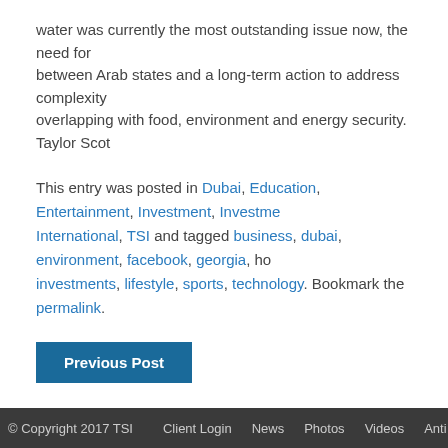water was currently the most outstanding issue now, the need for between Arab states and a long-term action to address complexity overlapping with food, environment and energy security. Taylor Scot
This entry was posted in Dubai, Education, Entertainment, Investment, Investment International, TSI and tagged business, dubai, environment, facebook, georgia, ho investments, lifestyle, sports, technology. Bookmark the permalink.
Previous Post
© Copyright 2017 TSI   Client Login   News   Photos   Videos   Anti Corr